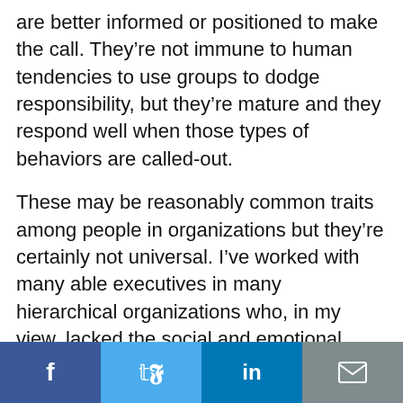are better informed or positioned to make the call. They're not immune to human tendencies to use groups to dodge responsibility, but they're mature and they respond well when those types of behaviors are called-out.
These may be reasonably common traits among people in organizations but they're certainly not universal. I've worked with many able executives in many hierarchical organizations who, in my view, lacked the social and emotional skills necessary to master this new model. We were lucky in having four who had the skills to thrive in the single-CEO
Social share bar: Facebook, Twitter, LinkedIn, Email